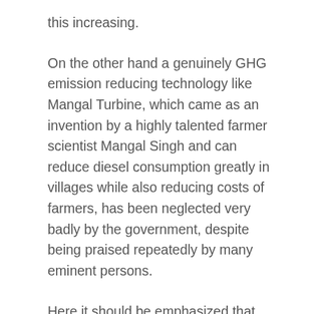this increasing.
On the other hand a genuinely GHG emission reducing technology like Mangal Turbine, which came as an invention by a highly talented farmer scientist Mangal Singh and can reduce diesel consumption greatly in villages while also reducing costs of farmers, has been neglected very badly by the government, despite being praised repeatedly by many eminent persons.
Here it should be emphasized that the case for ecologically protective farming, which was always very strong for improving sustainability and for getting healthy and safe food, has been strengthened very greatly in times of climate change due to the enormous benefits of such